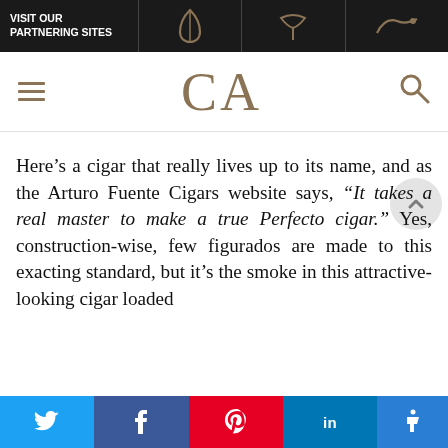VISIT OUR PARTNERING SITES
[Figure (logo): CA logo navigation bar with hamburger menu and search icon]
Here’s a cigar that really lives up to its name, and as the Arturo Fuente Cigars website says, “It takes a real master to make a true Perfecto cigar.” Yes, construction-wise, few figurados are made to this exacting standard, but it’s the smoke in this attractive-looking cigar loaded with...
Twitter | Facebook | Pinterest | LinkedIn | Accessibility